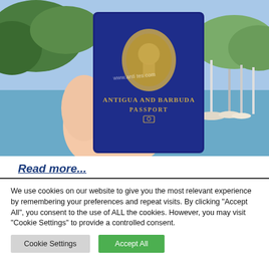[Figure (photo): A hand holding a dark navy blue Antigua and Barbuda passport with gold embossed coat of arms. Background shows a marina with sailboats and blue water, lush green hills. A watermark 'www.antiguacitizens.com' is visible across the image.]
Read more...
We use cookies on our website to give you the most relevant experience by remembering your preferences and repeat visits. By clicking "Accept All", you consent to the use of ALL the cookies. However, you may visit "Cookie Settings" to provide a controlled consent.